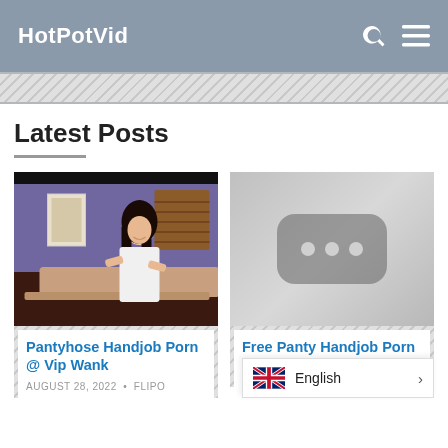HotPotVid
Latest Posts
[Figure (screenshot): Video thumbnail showing massage scene with woman in white coat massaging a man on a table, purple wall background]
Pantyhose Handjob Porn @ Vip Wank
AUGUST 28, 2022 · FLIPO
[Figure (screenshot): Video placeholder thumbnail with gray background and rounded rectangle icon with three dots]
Free Panty Handjob Porn Videos From Thumbzilla
English